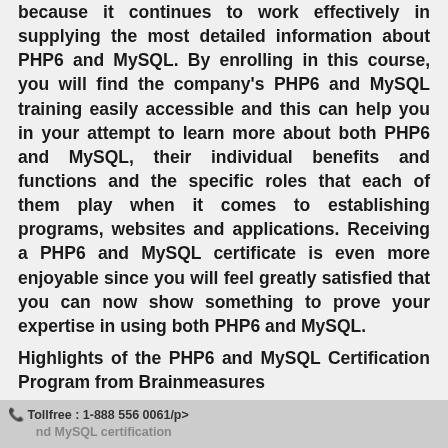because it continues to work effectively in supplying the most detailed information about PHP6 and MySQL. By enrolling in this course, you will find the company's PHP6 and MySQL training easily accessible and this can help you in your attempt to learn more about both PHP6 and MySQL, their individual benefits and functions and the specific roles that each of them play when it comes to establishing programs, websites and applications. Receiving a PHP6 and MySQL certificate is even more enjoyable since you will feel greatly satisfied that you can now show something to prove your expertise in using both PHP6 and MySQL.
Highlights of the PHP6 and MySQL Certification Program from Brainmeasures
Tollfree : 1-888 556 0061/p> nd MySQL certification